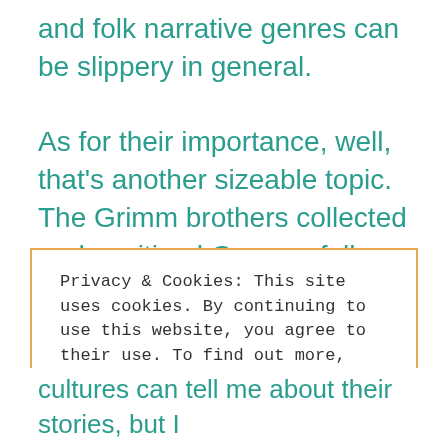and folk narrative genres can be slippery in general.

As for their importance, well, that's another sizeable topic. The Grimm brothers collected and sanitized German folk tales in part as a means of preserving German national identity. Gàidhlig waulking songs contain elements of Scottish and Cape Breton history, but they're also work songs that help to pass the time.
Privacy & Cookies: This site uses cookies. By continuing to use this website, you agree to their use. To find out more, including how to control cookies, see here: Cookie Policy
Close and accept
cultures can tell me about their stories, but I